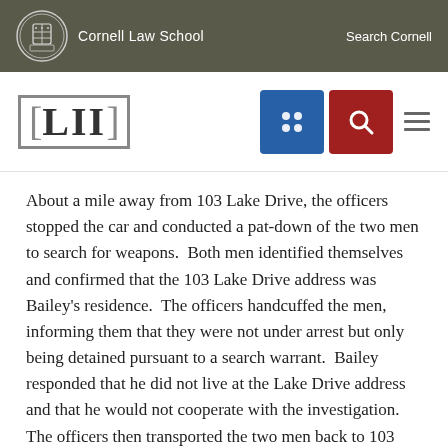Cornell Law School | Search Cornell
[Figure (logo): LII Legal Information Institute logo with Cornell Law School navigation bar including grid icon and search icon]
About a mile away from 103 Lake Drive, the officers stopped the car and conducted a pat-down of the two men to search for weapons. Both men identified themselves and confirmed that the 103 Lake Drive address was Bailey's residence. The officers handcuffed the men, informing them that they were not under arrest but only being detained pursuant to a search warrant. Bailey responded that he did not live at the Lake Drive address and that he would not cooperate with the investigation. The officers then transported the two men back to 103 Lake Drive where the officers found drugs and a gun, and an officer later found that one of Bailey's keys opened the basement door. The officers arrested both men less